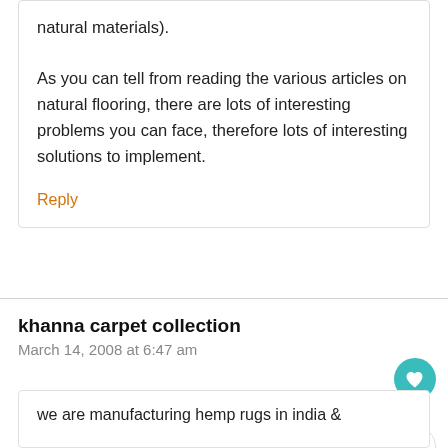natural materials). As you can tell from reading the various articles on natural flooring, there are lots of interesting problems you can face, therefore lots of interesting solutions to implement.
Reply
khanna carpet collection
March 14, 2008 at 6:47 am
we are manufacturing hemp rugs in india &